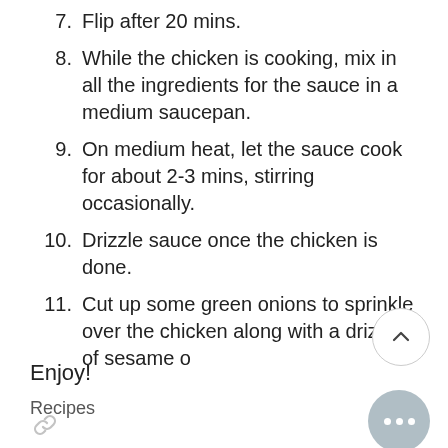7. Flip after 20 mins.
8. While the chicken is cooking, mix in all the ingredients for the sauce in a medium saucepan.
9. On medium heat, let the sauce cook for about 2-3 mins, stirring occasionally.
10. Drizzle sauce once the chicken is done.
11. Cut up some green onions to sprinkle over the chicken along with a drizzle of sesame o
Enjoy!
Recipes